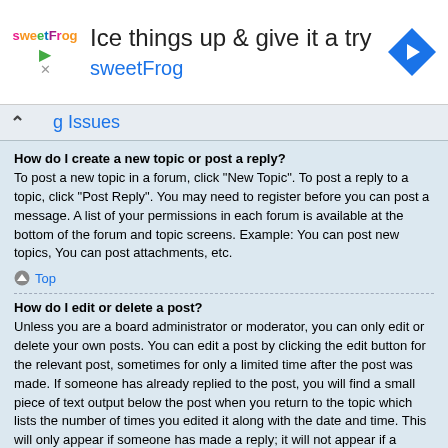[Figure (infographic): Advertisement banner for sweetFrog with logo, headline 'Ice things up & give it a try', brand name 'sweetFrog', and navigation arrow icon]
g Issues
How do I create a new topic or post a reply?
To post a new topic in a forum, click "New Topic". To post a reply to a topic, click "Post Reply". You may need to register before you can post a message. A list of your permissions in each forum is available at the bottom of the forum and topic screens. Example: You can post new topics, You can post attachments, etc.
Top
How do I edit or delete a post?
Unless you are a board administrator or moderator, you can only edit or delete your own posts. You can edit a post by clicking the edit button for the relevant post, sometimes for only a limited time after the post was made. If someone has already replied to the post, you will find a small piece of text output below the post when you return to the topic which lists the number of times you edited it along with the date and time. This will only appear if someone has made a reply; it will not appear if a moderator or administrator edited the post, though they may leave a note as to why they've edited the post at their own discretion. Please note that normal users cannot delete a post once someone has replied.